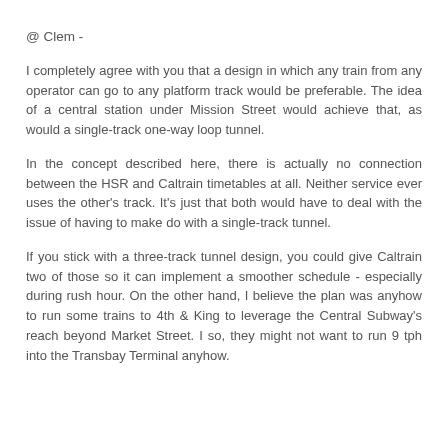@ Clem -
I completely agree with you that a design in which any train from any operator can go to any platform track would be preferable. The idea of a central station under Mission Street would achieve that, as would a single-track one-way loop tunnel.
In the concept described here, there is actually no connection between the HSR and Caltrain timetables at all. Neither service ever uses the other's track. It's just that both would have to deal with the issue of having to make do with a single-track tunnel.
If you stick with a three-track tunnel design, you could give Caltrain two of those so it can implement a smoother schedule - especially during rush hour. On the other hand, I believe the plan was anyhow to run some trains to 4th & King to leverage the Central Subway's reach beyond Market Street. I so, they might not want to run 9 tph into the Transbay Terminal anyhow.